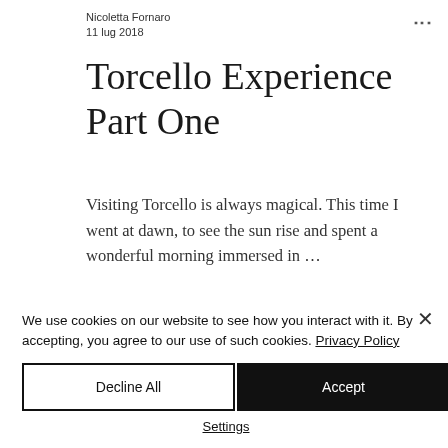Nicoletta Fornaro
11 lug 2018
Torcello Experience Part One
Visiting Torcello is always magical. This time I went at dawn, to see the sun rise and spent a wonderful morning immersed in …
We use cookies on our website to see how you interact with it. By accepting, you agree to our use of such cookies. Privacy Policy
Decline All
Accept
Settings